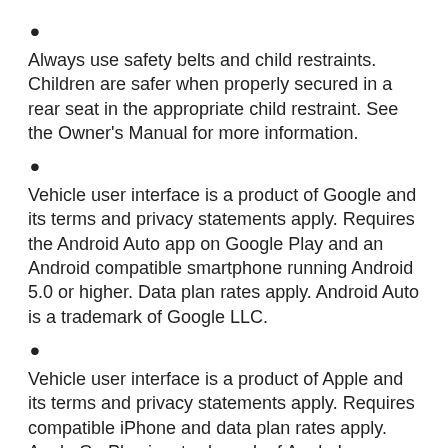Always use safety belts and child restraints. Children are safer when properly secured in a rear seat in the appropriate child restraint. See the Owner's Manual for more information.
Vehicle user interface is a product of Google and its terms and privacy statements apply. Requires the Android Auto app on Google Play and an Android compatible smartphone running Android 5.0 or higher. Data plan rates apply. Android Auto is a trademark of Google LLC.
Vehicle user interface is a product of Apple and its terms and privacy statements apply. Requires compatible iPhone and data plan rates apply. Apple CarPlay is a trademark of Apple Inc.